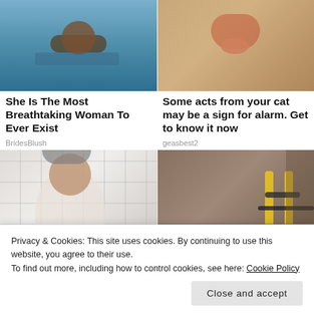[Figure (photo): Cat or animal swimming in blue water, view from above]
[Figure (photo): Close-up of a cat's face showing nose and whiskers with a teardrop]
She Is The Most Breathtaking Woman To Ever Exist
Some acts from your cat may be a sign for alarm. Get to know it now
BridesBlush
geasbest2
[Figure (photo): Man smiling in bathroom with cat on his back/shoulders, white tiled wall]
[Figure (photo): Underground pipes and plumbing work next to a foundation wall]
Privacy & Cookies: This site uses cookies. By continuing to use this website, you agree to their use.
To find out more, including how to control cookies, see here: Cookie Policy
Close and accept